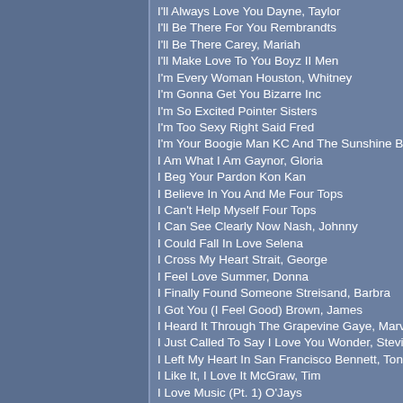I'll Always Love You Dayne, Taylor
I'll Be There For You Rembrandts
I'll Be There Carey, Mariah
I'll Make Love To You Boyz II Men
I'm Every Woman Houston, Whitney
I'm Gonna Get You Bizarre Inc
I'm So Excited Pointer Sisters
I'm Too Sexy Right Said Fred
I'm Your Boogie Man KC And The Sunshine Ba…
I Am What I Am Gaynor, Gloria
I Beg Your Pardon Kon Kan
I Believe In You And Me Four Tops
I Can't Help Myself Four Tops
I Can See Clearly Now Nash, Johnny
I Could Fall In Love Selena
I Cross My Heart Strait, George
I Feel Love Summer, Donna
I Finally Found Someone Streisand, Barbra
I Got You (I Feel Good) Brown, James
I Heard It Through The Grapevine Gaye, Marv…
I Just Called To Say I Love You Wonder, Stevie
I Left My Heart In San Francisco Bennett, Tony
I Like It, I Love It McGraw, Tim
I Love Music (Pt. 1) O'Jays
I Love My Radio (Midnight Radio) Taffy
I Love Rock 'N Roll Jett, Joan
I Love The Nightlife (Disco 'Round) Bridges, Al…
I Love The Way You Love Me Montgomery, Jo…
I Love You Always Forever Lewis, Donna